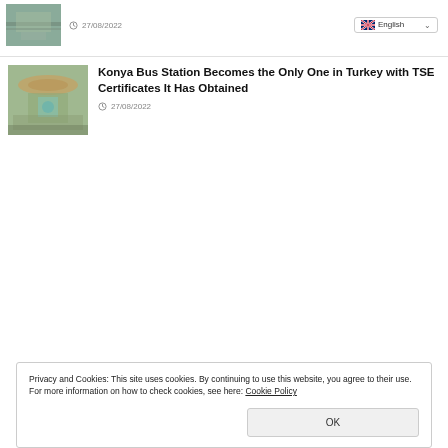[Figure (photo): Aerial view thumbnail image]
27/08/2022
English
[Figure (photo): Aerial view of Konya Bus Station thumbnail]
Konya Bus Station Becomes the Only One in Turkey with TSE Certificates It Has Obtained
27/08/2022
Privacy and Cookies: This site uses cookies. By continuing to use this website, you agree to their use.
For more information on how to check cookies, see here: Cookie Policy